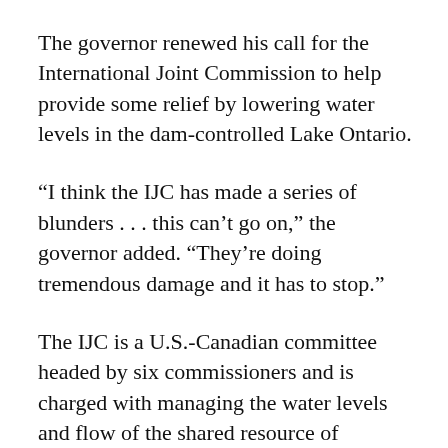The governor renewed his call for the International Joint Commission to help provide some relief by lowering water levels in the dam-controlled Lake Ontario.
“I think the IJC has made a series of blunders . . . this can’t go on,” the governor added. “They’re doing tremendous damage and it has to stop.”
The IJC is a U.S.-Canadian committee headed by six commissioners and is charged with managing the water levels and flow of the shared resource of boundary waters between the two countries, including Lake Ontario. The IJC implemented an initiative called Plan 2014 that raised water levels in Lake Ontario in an attempt to restore shoreline ecosystems